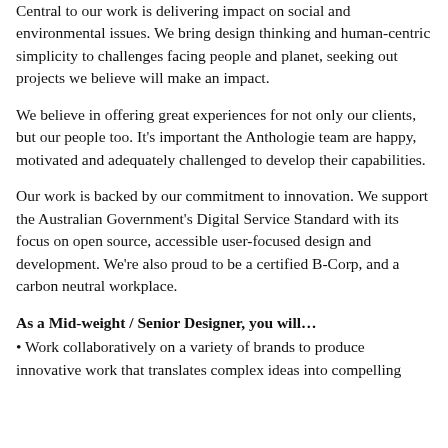Central to our work is delivering impact on social and environmental issues. We bring design thinking and human-centric simplicity to challenges facing people and planet, seeking out projects we believe will make an impact.
We believe in offering great experiences for not only our clients, but our people too. It's important the Anthologie team are happy, motivated and adequately challenged to develop their capabilities.
Our work is backed by our commitment to innovation. We support the Australian Government's Digital Service Standard with its focus on open source, accessible user-focused design and development. We're also proud to be a certified B-Corp, and a carbon neutral workplace.
As a Mid-weight / Senior Designer, you will…
• Work collaboratively on a variety of brands to produce innovative work that translates complex ideas into compelling